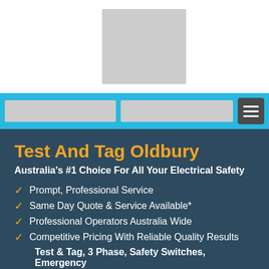[Figure (logo): Logo placeholder image (grey rectangle) centered at top of page]
[Figure (other): Navigation bar with two grey input/search bars and a dark hamburger menu button, on a cyan/blue background]
Test And Tag Oldbury
Australia's #1 Choice For All Your Electrical Safety
Prompt, Professional Service
Same Day Quote & Service Available*
Professional Operators Australia Wide
Competitive Pricing With Reliable Quality Results
Test & Tag, 3 Phase, Safety Switches, Emergency